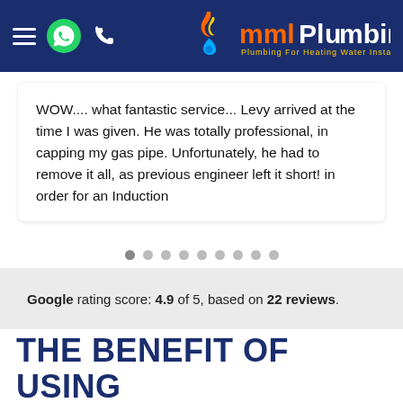MML Plumbing - navigation header with hamburger menu, WhatsApp, phone icons and MML Plumbing logo
WOW.... what fantastic service... Levy arrived at the time I was given. He was totally professional, in capping my gas pipe. Unfortunately, he had to remove it all, as previous engineer left it short! in order for an Induction
Google rating score: 4.9 of 5, based on 22 reviews.
THE BENEFIT OF USING MML PLUMBING'S TEAM
Luxury plumbing services in